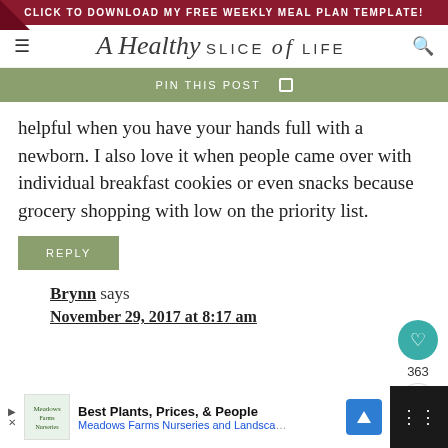CLICK TO DOWNLOAD MY FREE WEEKLY MEAL PLAN TEMPLATE!
[Figure (logo): A Healthy Slice of LIFE blog logo with hamburger menu and search icon]
PIN THIS POST
helpful when you have your hands full with a newborn. I also love it when people came over with individual breakfast cookies or even snacks because grocery shopping with low on the priority list.
REPLY
Brynn says
November 29, 2017 at 8:17 am
[Figure (screenshot): Ad bar: Best Plants, Prices, & People - Meadows Farms Nurseries and Landscape]